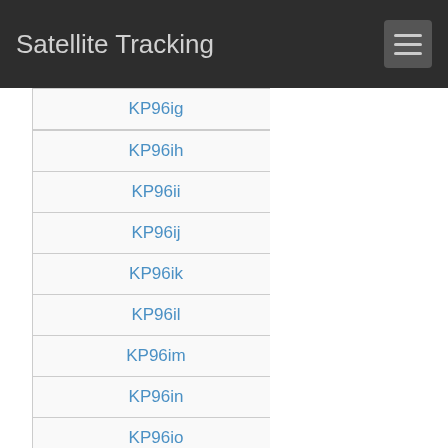Satellite Tracking
KP96ig
KP96ih
KP96ii
KP96ij
KP96ik
KP96il
KP96im
KP96in
KP96io
KP96ip
KP96iq
KP96ir
KP96is
KP96it
KP96iu
KP96iv
KP96iw